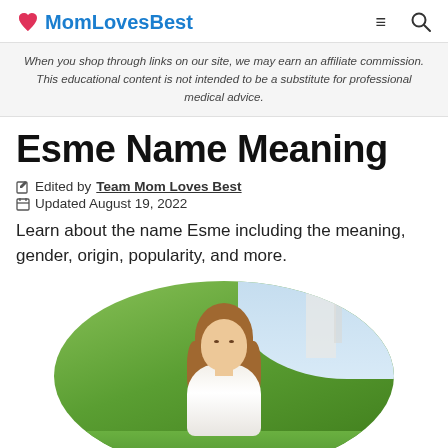MomLovesBest
When you shop through links on our site, we may earn an affiliate commission. This educational content is not intended to be a substitute for professional medical advice.
Esme Name Meaning
Edited by Team Mom Loves Best
Updated August 19, 2022
Learn about the name Esme including the meaning, gender, origin, popularity, and more.
[Figure (photo): Young girl with long brown hair standing outdoors on green grass, smiling, wearing a white shirt, shown in oval frame]